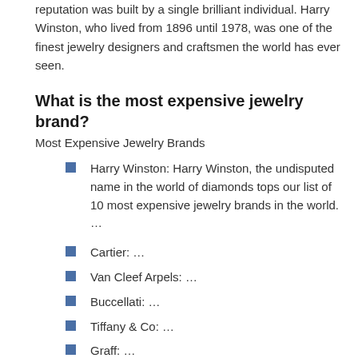reputation was built by a single brilliant individual. Harry Winston, who lived from 1896 until 1978, was one of the finest jewelry designers and craftsmen the world has ever seen.
What is the most expensive jewelry brand?
Most Expensive Jewelry Brands
Harry Winston: Harry Winston, the undisputed name in the world of diamonds tops our list of 10 most expensive jewelry brands in the world. …
Cartier: …
Van Cleef Arpels: …
Buccellati: …
Tiffany & Co: …
Graff: …
Piaget: …